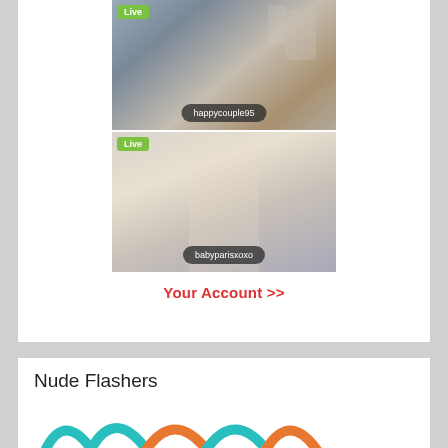[Figure (screenshot): Live stream thumbnail showing a room with decorative wall pieces and some clothing. Username badge 'happycouple95' at bottom. Green 'Live' badge at top left.]
[Figure (screenshot): Live stream thumbnail showing a blonde woman in a white top in a car. Username badge 'babyparisxoxo' at bottom. Green 'Live' badge at top left.]
Your Account >>
Nude Flashers
[Figure (illustration): Partial colorful arc/wave icons in teal and orange at the bottom, partially cut off.]